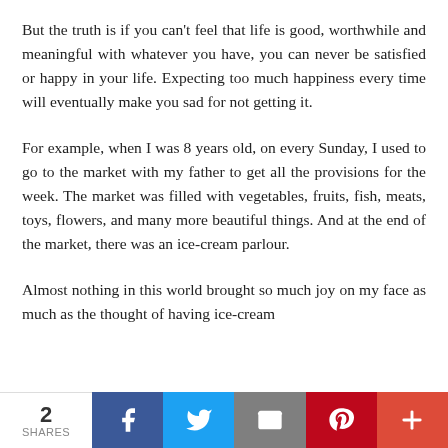But the truth is if you can't feel that life is good, worthwhile and meaningful with whatever you have, you can never be satisfied or happy in your life. Expecting too much happiness every time will eventually make you sad for not getting it.
For example, when I was 8 years old, on every Sunday, I used to go to the market with my father to get all the provisions for the week. The market was filled with vegetables, fruits, fish, meats, toys, flowers, and many more beautiful things. And at the end of the market, there was an ice-cream parlour.
Almost nothing in this world brought so much joy on my face as much as the thought of having ice-cream